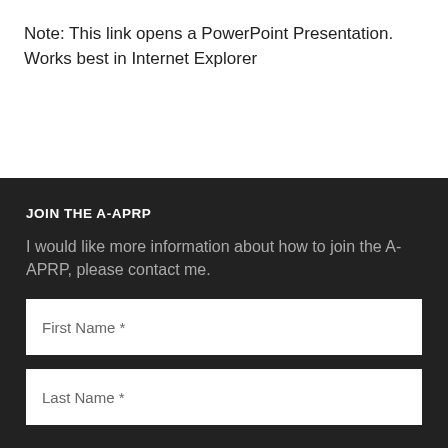Note: This link opens a PowerPoint Presentation. Works best in Internet Explorer
JOIN THE A-APRP
I would like more information about how to join the A-APRP, please contact me.
First Name *
Last Name *